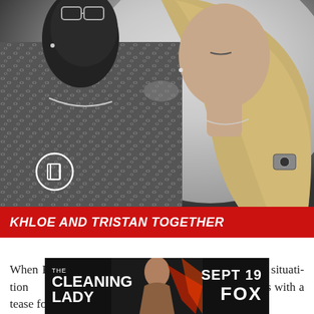[Figure (photo): Black and white photo of two people kissing/close together. Man on left wearing leopard print shirt and chain necklace. Woman on right with long blonde hair.]
KHLOE AND TRISTAN TOGETHER
When Khloe calls Kim back, Kim fills her in on the situati... and the episode ends with a tease for next week.
[Figure (advertisement): The Cleaning Lady advertisement banner. Sept 19, FOX.]